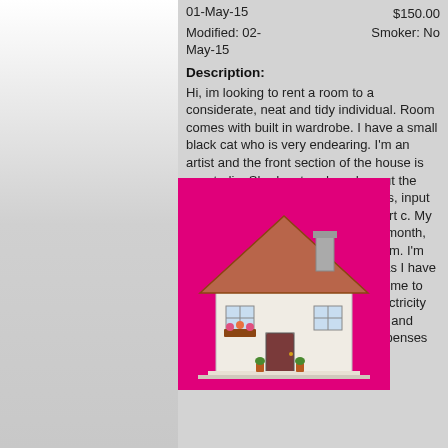01-May-15   $150.00
Modified: 02-May-15   Smoker: No
Description:
Hi, im looking to rent a room to a considerate, neat and tidy individual. Room comes with built in wardrobe. I have a small black cat who is very endearing. I'm an artist and the front section of the house is my studio. Shady crtyard garden out the back where I attempt to grow vegies, input welcome. Old piano tuned to concert c. My son comes to stay one weekend a month, he's in highschool - I'm a young mum. I'm away nearly every other weekend as I have family and partner in Sydney, welcome to catch a lift up anytime. Gas and electricity will be split equally between myself and flatmate as will other household expenses ie. loo paper and washing
[Figure (illustration): Cartoon/clip-art style house illustration on a pink/magenta background. White cottage with brown tiled roof, chimney, window boxes with flowers, front door, and picket fence elements.]